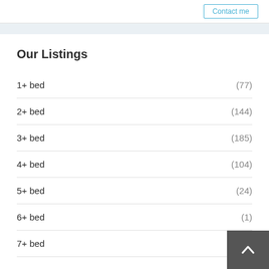Our Listings
1+ bed (77)
2+ bed (144)
3+ bed (185)
4+ bed (104)
5+ bed (24)
6+ bed (1)
7+ bed